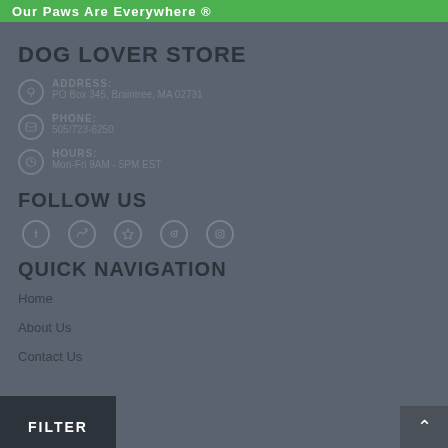Our Paws Are Everywhere ®
DOG LOVER STORE
ADDRESS:
PO Box 345, Braintree, MA 02731
PHONE:
505/723-6250
HOURS:
Mon-Fri 9AM - 5PM EST
FOLLOW US
[Figure (infographic): Social media icons: Facebook, Twitter, RSS, Pinterest, Instagram]
QUICK NAVIGATION
Home
About Us
Contact Us